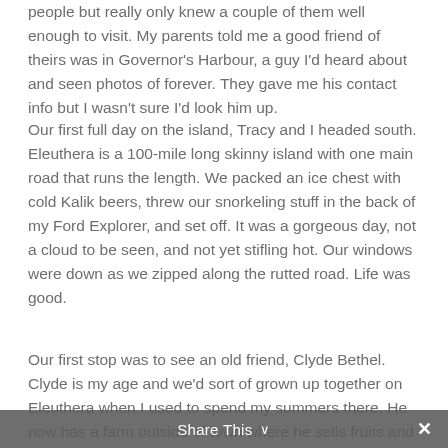people but really only knew a couple of them well enough to visit. My parents told me a good friend of theirs was in Governor's Harbour, a guy I'd heard about and seen photos of forever. They gave me his contact info but I wasn't sure I'd look him up.
Our first full day on the island, Tracy and I headed south. Eleuthera is a 100-mile long skinny island with one main road that runs the length. We packed an ice chest with cold Kalik beers, threw our snorkeling stuff in the back of my Ford Explorer, and set off. It was a gorgeous day, not a cloud to be seen, and not yet stifling hot. Our windows were down as we zipped along the rutted road. Life was good.
Our first stop was to see an old friend, Clyde Bethel. Clyde is my age and we'd sort of grown up together on Eleuthera when I used to spend my summers there. He now has a farm outside of town where he sells fruits and vegetables, jams and honey.
Share This ∨  ✕